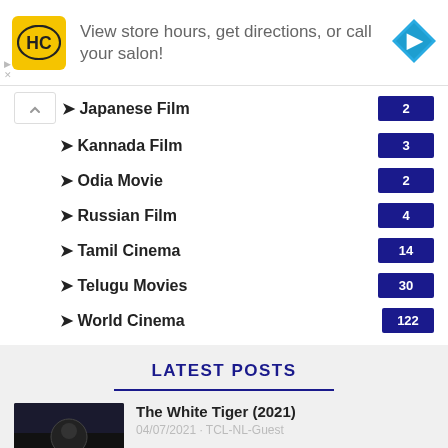[Figure (illustration): Advertisement banner for a hair salon brand (HC logo in yellow circle). Text: 'View store hours, get directions, or call your salon!' with a blue navigation diamond icon on the right.]
Japanese Film — 2
Kannada Film — 3
Odia Movie — 2
Russian Film — 4
Tamil Cinema — 14
Telugu Movies — 30
World Cinema — 122
LATEST POSTS
The White Tiger (2021)
04/07/2021 · TCL-NL-Guest